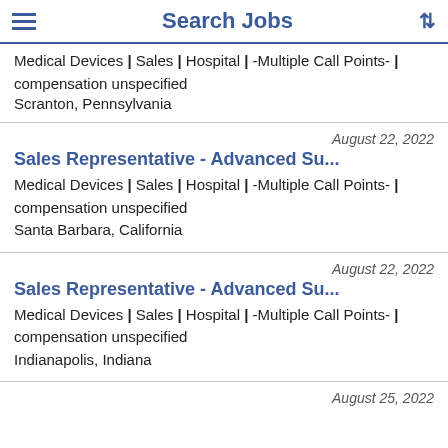Search Jobs
Medical Devices | Sales | Hospital | -Multiple Call Points- | compensation unspecified
Scranton, Pennsylvania
August 22, 2022
Sales Representative - Advanced Su...
Medical Devices | Sales | Hospital | -Multiple Call Points- | compensation unspecified
Santa Barbara, California
August 22, 2022
Sales Representative - Advanced Su...
Medical Devices | Sales | Hospital | -Multiple Call Points- | compensation unspecified
Indianapolis, Indiana
August 25, 2022